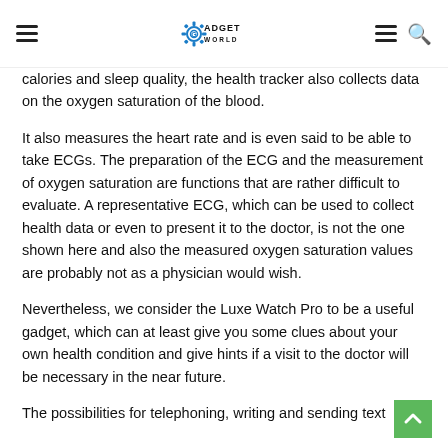GADGET WORLD
calories and sleep quality, the health tracker also collects data on the oxygen saturation of the blood.
It also measures the heart rate and is even said to be able to take ECGs. The preparation of the ECG and the measurement of oxygen saturation are functions that are rather difficult to evaluate. A representative ECG, which can be used to collect health data or even to present it to the doctor, is not the one shown here and also the measured oxygen saturation values are probably not as a physician would wish.
Nevertheless, we consider the Luxe Watch Pro to be a useful gadget, which can at least give you some clues about your own health condition and give hints if a visit to the doctor will be necessary in the near future.
The possibilities for telephoning, writing and sending text